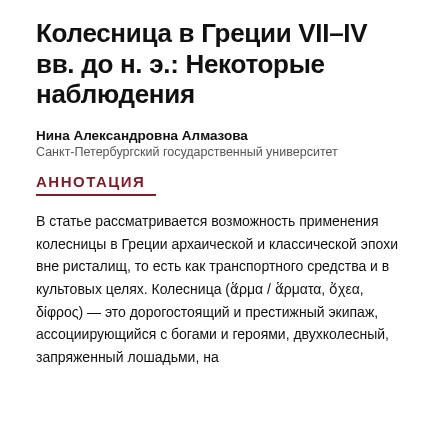Колесница в Греции VII–IV вв. до н. э.: Некоторые наблюдения
Нина Александровна Алмазова
Санкт-Петербургский государственный университет
АННОТАЦИЯ
В статье рассматривается возможность применения колесницы в Греции архаической и классической эпохи вне ристалищ, то есть как транспортного средства и в культовых целях. Колесница (ἅρμα / ἅρματα, ὄχεα, δίφρος) — это дорогостоящий и престижный экипаж, ассоциирующийся с богами и героями, двухколесный, запряженный лошадьми, на